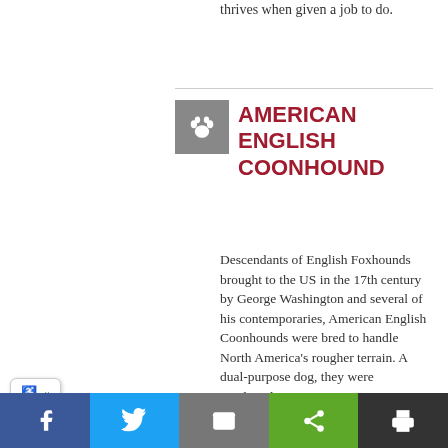thrives when given a job to do.
[Figure (illustration): Dog paw print icon on grey background]
AMERICAN ENGLISH COONHOUND
Descendants of English Foxhounds brought to the US in the 17th century by George Washington and several of his contemporaries, American English Coonhounds were bred to handle North America's rougher terrain. A dual-purpose dog, they were employed
Facebook, Twitter, Email, Share, Print social buttons